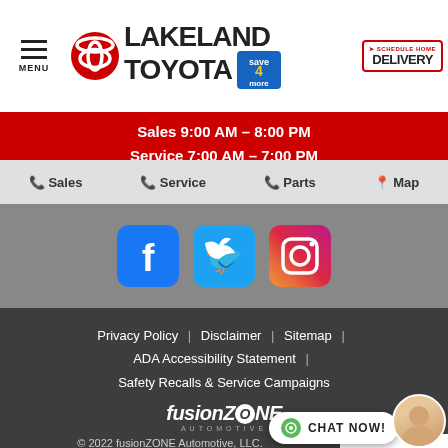[Figure (logo): Lakeland Toyota dealership header with Toyota logo, LAKELAND TOYOTA text, save4more badge, and Schedule Home Delivery badge]
Sales 9:00 AM - 8:00 PM
Service 7:00 AM - 7:00 PM
Sales  Service  Parts  Map
[Figure (illustration): Facebook, Twitter, and Instagram social media icons on grey background]
Privacy Policy | Disclaimer | Sitemap | ADA Accessibility Statement | Safety Recalls & Service Campaigns
[Figure (logo): fusionZONE AUTOMOTIVE logo in white italic text]
© 2022 fusionZONE Automotive, LLC.
[Figure (illustration): CHAT NOW! button with green icon and female avatar photo]